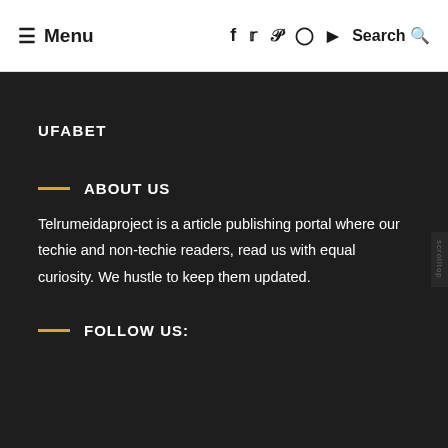≡ Menu   f  𝕥  𝗣  ⊙  ▶   Search 🔍
UFABET
ABOUT US
Telrumeidaproject is a article publishing portal where our techie and non-techie readers, read us with equal curiosity. We hustle to keep them updated.
FOLLOW US: